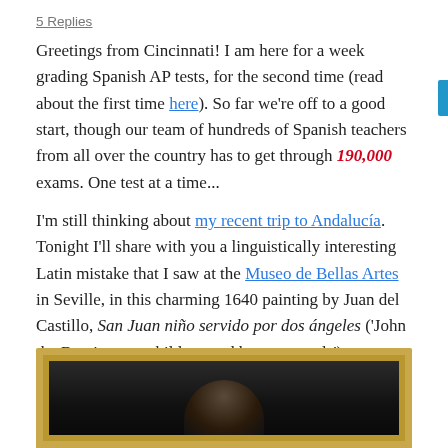5 Replies
Greetings from Cincinnati! I am here for a week grading Spanish AP tests, for the second time (read about the first time here). So far we're off to a good start, though our team of hundreds of Spanish teachers from all over the country has to get through 190,000 exams. One test at a time...
I'm still thinking about my recent trip to Andalucía. Tonight I'll share with you a linguistically interesting Latin mistake that I saw at the Museo de Bellas Artes in Seville, in this charming 1640 painting by Juan del Castillo, San Juan niño servido por dos ángeles ('John the Baptist, as a child, served by two angels').
[Figure (photo): A 1640 painting by Juan del Castillo in a gold ornate frame, showing a dark religious scene. The top portion of the painting is visible, with a gold frame border around a dark canvas.]